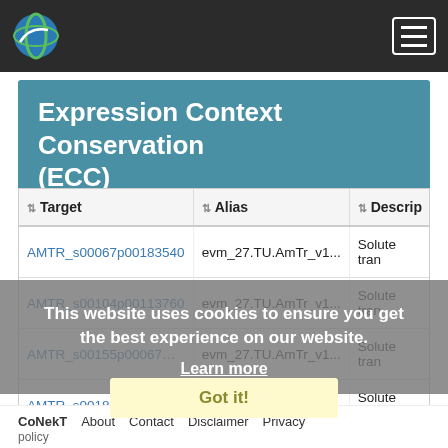CoNekT — Expression Context Conservation (ECC)
Expression Context Conservation (ECC)
| Target | Alias | Descrip |
| --- | --- | --- |
| AMTR_s00067p00183540 | evm_27.TU.AmTr_v1... | Solute tran |
| AMTR_s00104p00113760 | evm_27.TU.AmTr_v1... | Solute tran |
| AMTR_s00155p00067… | evm_27.TU.AmTr_v1... | Solute tran |
| AMTR_s00186p00036810 | evm_27.TU.AmTr_v1... | Solute tran |
| AMTR_s00256p00011920 | evm_27.TU.AmTr_v1... | Solute tran |
| AT1G22550 | No alias | Major facili |
This website uses cookies to ensure you get the best experience on our website. Learn more
Got it!
CoNekT   About   Contact   Disclaimer   Privacy policy